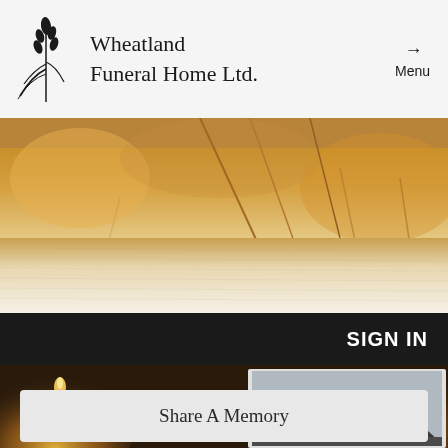[Figure (logo): Wheatland Funeral Home Ltd. logo with wheat/feather graphic and company name]
Menu
[Figure (photo): Close-up photo of golden wheat stalks with soft white fabric texture below]
SIGN IN
[Figure (photo): Dark background with candle bokeh lights on sides and a portrait photo in center]
Share A Memory